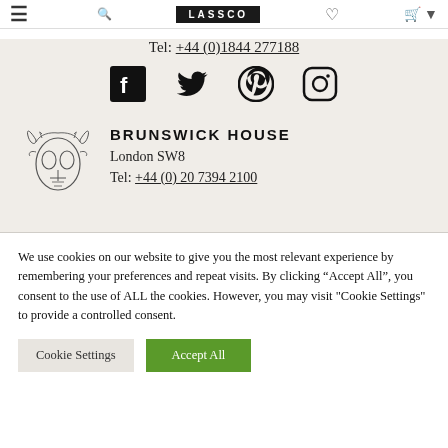LASSCO
Tel: +44 (0)1844 277188
[Figure (other): Social media icons: Facebook, Twitter, Pinterest, Instagram]
[Figure (logo): Brunswick House decorative skull logo illustration]
BRUNSWICK HOUSE
London SW8
Tel: +44 (0) 20 7394 2100
We use cookies on our website to give you the most relevant experience by remembering your preferences and repeat visits. By clicking “Accept All”, you consent to the use of ALL the cookies. However, you may visit "Cookie Settings" to provide a controlled consent.
Cookie Settings | Accept All